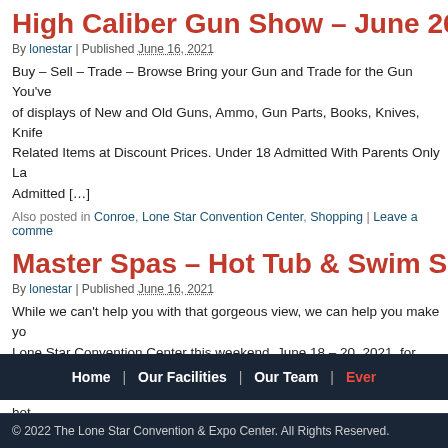High Caliber Gun Show – June 26 – 27, 20…
By lonestar | Published June 16, 2021
Buy – Sell – Trade – Browse Bring your Gun and Trade for the Gun You've… of displays of New and Old Guns, Ammo, Gun Parts, Books, Knives, Knife… Related Items at Discount Prices. Under 18 Admitted With Parents Only La… Admitted […]
Also posted in Conroe, Lone Star Convention Center, Shopping | Leave a comme…
Master Spas – Hot Tub & Swim Spa Blowo…
By lonestar | Published June 16, 2021
While we can't help you with that gorgeous view, we can help you make yo… Lone Star Convention Center this weekend, June 18 – 20, 2021, for Maste… Blowout Expo. Samples are available on the floor to help you picture a hot…
Also posted in Lone Star Convention Center, Shopping, Wellness | Leave a comm…
« Older posts
Home | Our Facilities | Our Team | Ever…
© 2022 The Lone Star Convention & Expo Center. All Rights Reserved.